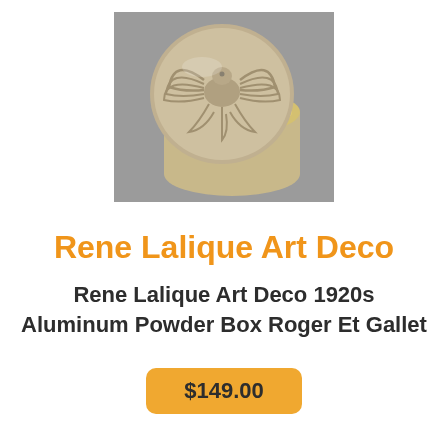[Figure (photo): A circular aluminum powder box with an ornate Art Deco bird/phoenix design embossed on the lid, shown open to reveal a gold-toned interior, photographed against a grey background.]
Rene Lalique Art Deco
Rene Lalique Art Deco 1920s Aluminum Powder Box Roger Et Gallet
$149.00